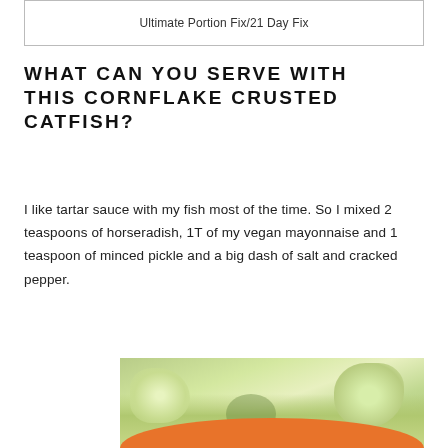Ultimate Portion Fix/21 Day Fix
WHAT CAN YOU SERVE WITH THIS CORNFLAKE CRUSTED CATFISH?
I like tartar sauce with my fish most of the time. So I mixed 2 teaspoons of horseradish, 1T of my vegan mayonnaise and 1 teaspoon of minced pickle and a big dash of salt and cracked pepper.
[Figure (photo): Close-up photo of light green/white food pieces (likely celery or cucumber) with an orange container rim visible at the bottom]